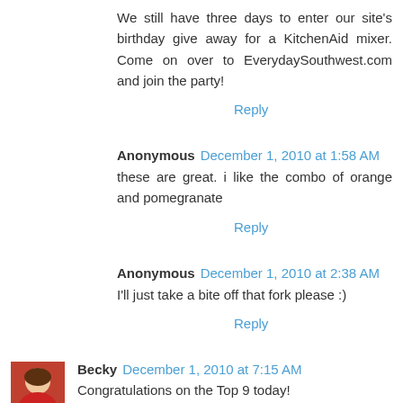We still have three days to enter our site's birthday give away for a KitchenAid mixer. Come on over to EverydaySouthwest.com and join the party!
Reply
Anonymous December 1, 2010 at 1:58 AM
these are great. i like the combo of orange and pomegranate
Reply
Anonymous December 1, 2010 at 2:38 AM
I'll just take a bite off that fork please :)
Reply
Becky December 1, 2010 at 7:15 AM
Congratulations on the Top 9 today!